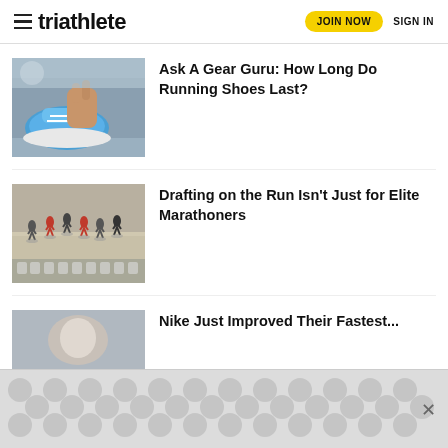triathlete | JOIN NOW | SIGN IN
[Figure (photo): Person tying blue running shoe laces close-up]
Ask A Gear Guru: How Long Do Running Shoes Last?
[Figure (photo): Group of runners on a track from aerial view, casting shadows]
Drafting on the Run Isn't Just for Elite Marathoners
[Figure (photo): Partial view of third article image]
Nike Just Improved Their Fastest...
[Figure (other): Advertisement overlay with dot pattern and close button]